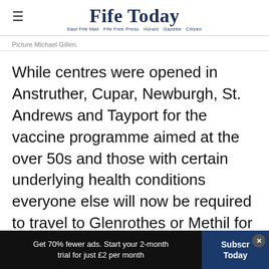Fife Today — East Fife Mail  Fife Free Press  Hörald  Gazette  Citizen
Picture Michael Gillen.
While centres were opened in Anstruther, Cupar, Newburgh, St. Andrews and Tayport for the vaccine programme aimed at the over 50s and those with certain underlying health conditions everyone else will now be required to travel to Glenrothes or Methil for their covid vaccination
Support quality local journalism
Subscribe today and see 70% fewer ads. Try our
Get 70% fewer ads. Start your 2-month trial for just £2 per month | Subscribe Today